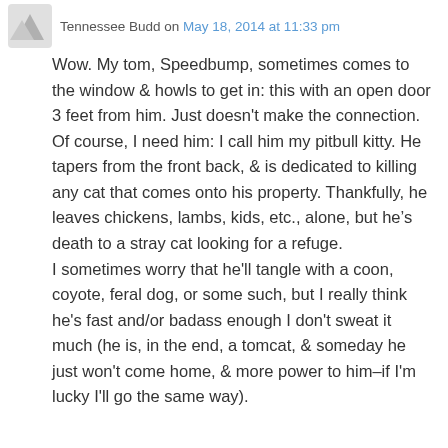Tennessee Budd on May 18, 2014 at 11:33 pm
Wow. My tom, Speedbump, sometimes comes to the window & howls to get in: this with an open door 3 feet from him. Just doesn't make the connection. Of course, I need him: I call him my pitbull kitty. He tapers from the front back, & is dedicated to killing any cat that comes onto his property. Thankfully, he leaves chickens, lambs, kids, etc., alone, but he’s death to a stray cat looking for a refuge.
I sometimes worry that he'll tangle with a coon, coyote, feral dog, or some such, but I really think he's fast and/or badass enough I don't sweat it much (he is, in the end, a tomcat, & someday he just won't come home, & more power to him–if I'm lucky I'll go the same way).